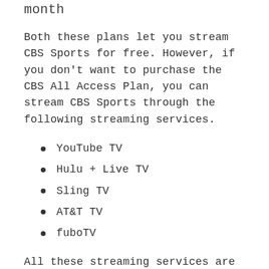month
Both these plans let you stream CBS Sports for free. However, if you don't want to purchase the CBS All Access Plan, you can stream CBS Sports through the following streaming services.
YouTube TV
Hulu + Live TV
Sling TV
AT&T TV
fuboTV
All these streaming services are available on the Roku Channel Store. So you can download them from there and stream CBS